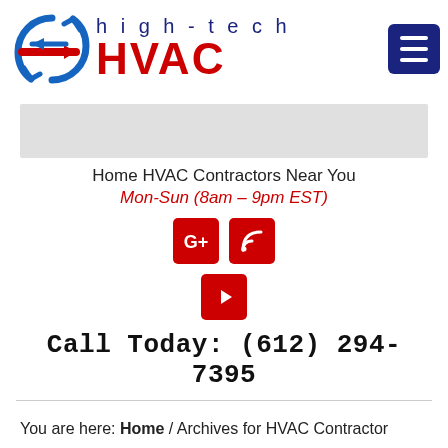[Figure (logo): High-tech HVAC logo with circular arrow graphic in red and blue, company name 'high-tech HVAC' in dark blue and red, and a dark blue hamburger menu button]
[Figure (other): Gray rectangular banner/image placeholder]
Home HVAC Contractors Near You
Mon-Sun (8am – 9pm EST)
[Figure (infographic): Social media icons: Google+, RSS feed (red squares), and YouTube (red square)]
Call Today: (612) 294-7395
You are here: Home / Archives for HVAC Contractor